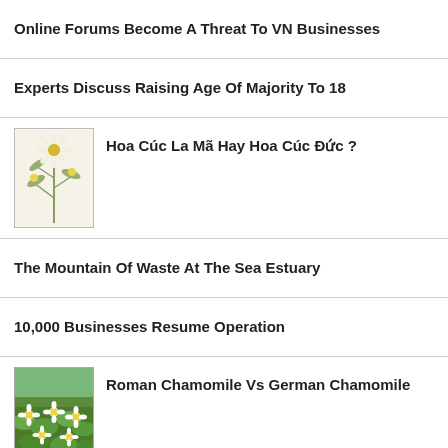Online Forums Become A Threat To VN Businesses
Experts Discuss Raising Age Of Majority To 18
[Figure (illustration): Botanical illustration of a chamomile plant with flowers and stems]
Hoa Cúc La Mã Hay Hoa Cúc Đức ?
The Mountain Of Waste At The Sea Estuary
10,000 Businesses Resume Operation
[Figure (photo): Photograph of chamomile flowers in a field, white flowers with yellow centers on green background]
Roman Chamomile Vs German Chamomile
Minister Dinh La Thang : Need To Find A Way To Legalize Uber Taxi